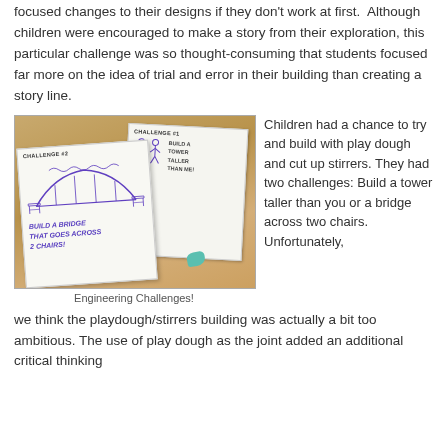focused changes to their designs if they don't work at first. Although children were encouraged to make a story from their exploration, this particular challenge was so thought-consuming that students focused far more on the idea of trial and error in their building than creating a story line.
[Figure (photo): Photo of two challenge cards on a wooden table. Card #2 shows a bridge drawing with text 'BUILD A BRIDGE THAT GOES ACROSS 2 CHAIRS!' Card #1 shows stick figures with text 'BUILD A TOWER TALLER THAN ME!' A teal piece of play dough is visible.]
Engineering Challenges!
Children had a chance to try and build with play dough and cut up stirrers. They had two challenges: Build a tower taller than you or a bridge across two chairs. Unfortunately, we think the playdough/stirrers building was actually a bit too ambitious. The use of play dough as the joint added an additional critical thinking